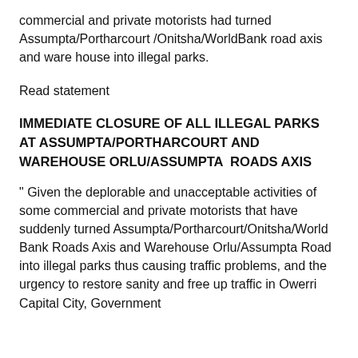commercial and private motorists had turned Assumpta/Portharcourt /Onitsha/WorldBank road axis and ware house into illegal parks.
Read statement
IMMEDIATE CLOSURE OF ALL ILLEGAL PARKS AT ASSUMPTA/PORTHARCOURT AND WAREHOUSE ORLU/ASSUMPTA  ROADS AXIS
" Given the deplorable and unacceptable activities of some commercial and private motorists that have suddenly turned Assumpta/Portharcourt/Onitsha/World Bank Roads Axis and Warehouse Orlu/Assumpta Road into illegal parks thus causing traffic problems, and the urgency to restore sanity and free up traffic in Owerri Capital City, Government